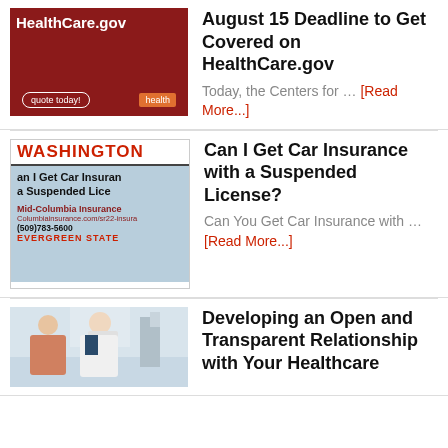[Figure (screenshot): HealthCare.gov red advertisement thumbnail showing website name and quote button]
August 15 Deadline to Get Covered on HealthCare.gov
Today, the Centers for … [Read More...]
[Figure (screenshot): Washington state car insurance advertisement for Mid-Columbia Insurance with suspended license text]
Can I Get Car Insurance with a Suspended License?
Can You Get Car Insurance with … [Read More...]
[Figure (photo): Doctor in mask with patient in medical office setting]
Developing an Open and Transparent Relationship with Your Healthcare